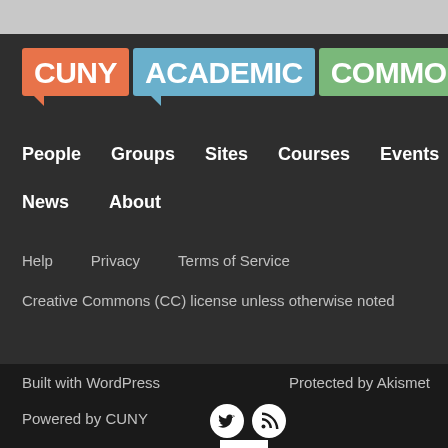[Figure (logo): CUNY Academic Commons logo with three speech bubble rectangles: CUNY in orange, ACADEMIC in blue, COMMONS in green, white bold text]
People    Groups    Sites    Courses    Events
News    About
Help    Privacy    Terms of Service
Creative Commons (CC) license unless otherwise noted
Built with WordPress    Protected by Akismet    Powered by CUNY
[Figure (logo): Twitter bird icon (white on white circle), RSS feed icon (white on white circle), CUNY block logo (black text on white square)]